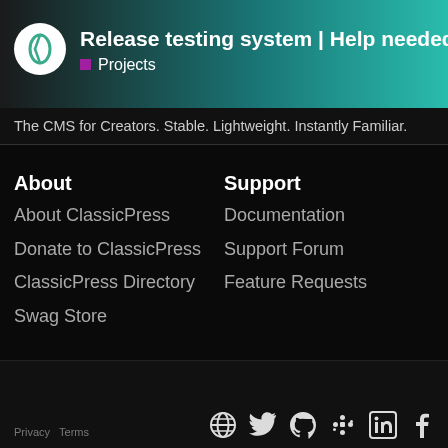Release testing system | Help needed — Projects
The CMS for Creators. Stable. Lightweight. Instantly Familiar.
About
About ClassicPress
Donate to ClassicPress
ClassicPress Directory
Swag Store
Support
Documentation
Support Forum
Feature Requests
Download
ClassicPress
Migration Plugin
Privacy  Terms